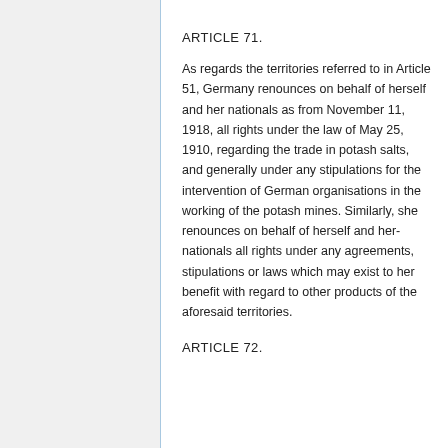ARTICLE 71.
As regards the territories referred to in Article 51, Germany renounces on behalf of herself and her nationals as from November 11, 1918, all rights under the law of May 25, 1910, regarding the trade in potash salts, and generally under any stipulations for the intervention of German organisations in the working of the potash mines. Similarly, she renounces on behalf of herself and her-nationals all rights under any agreements, stipulations or laws which may exist to her benefit with regard to other products of the aforesaid territories.
ARTICLE 72.